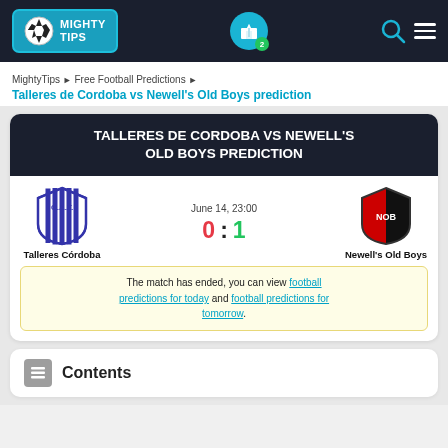MIGHTY TIPS
MightyTips ▶ Free Football Predictions ▶
Talleres de Cordoba vs Newell's Old Boys prediction
TALLERES DE CORDOBA VS NEWELL'S OLD BOYS PREDICTION
[Figure (infographic): Match card showing Talleres Córdoba vs Newell's Old Boys, date June 14 23:00, score 0:1]
The match has ended, you can view football predictions for today and football predictions for tomorrow.
Contents